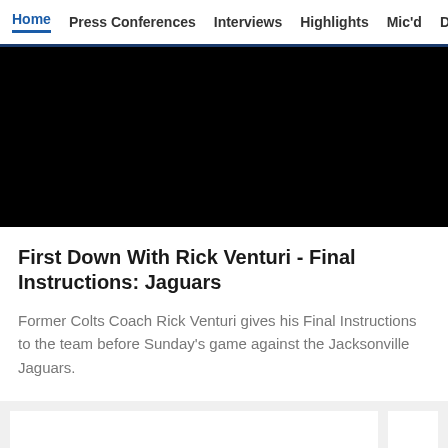Home | Press Conferences | Interviews | Highlights | Mic'd | Direc
[Figure (screenshot): Black video thumbnail area]
First Down With Rick Venturi - Final Instructions: Jaguars
Former Colts Coach Rick Venturi gives his Final Instructions to the team before Sunday's game against the Jacksonville Jaguars.
[Figure (screenshot): Bottom left card thumbnail area - white box]
[Figure (screenshot): Bottom right card thumbnail area - white box]